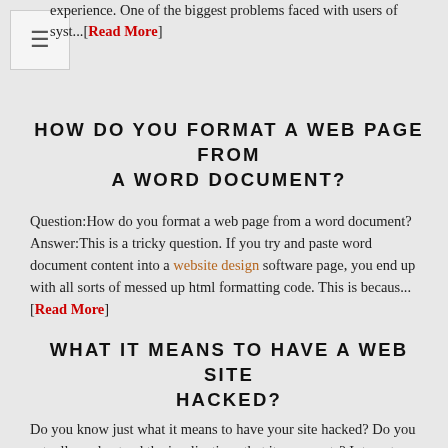experience. One of the biggest problems faced with users of syst...[Read More]
HOW DO YOU FORMAT A WEB PAGE FROM A WORD DOCUMENT?
Question:How do you format a web page from a word document? Answer:This is a tricky question. If you try and paste word document content into a website design software page, you end up with all sorts of messed up html formatting code. This is becaus...[Read More]
WHAT IT MEANS TO HAVE A WEB SITE HACKED?
Do you know just what it means to have your site hacked? Do you actually understand the implications that it represents? Internet